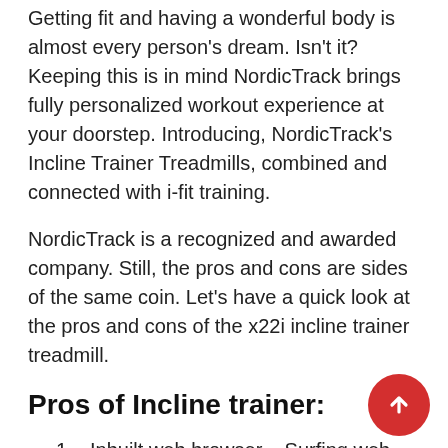Getting fit and having a wonderful body is almost every person's dream. Isn't it? Keeping this is in mind NordicTrack brings fully personalized workout experience at your doorstep. Introducing, NordicTrack's Incline Trainer Treadmills, combined and connected with i-fit training.
NordicTrack is a recognized and awarded company. Still, the pros and cons are sides of the same coin. Let's have a quick look at the pros and cons of the x22i incline trainer treadmill.
Pros of Incline trainer:
Inbuilt web browser – Surfing web browser along with working out. Amazing. Isn't it? The X9 and X11 models will allow you to watch your favorite workout videos or read your important